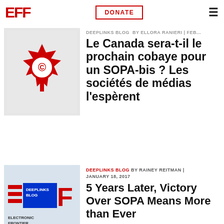EFF | DONATE | menu
[Figure (logo): Canadian maple leaf copyright symbol — red maple leaf with circle C in center on light gray background]
Le Canada sera-t-il le prochain cobaye pour un SOPA-bis ? Les sociétés de médias l'espèrent
DEEPLINKS BLOG BY RAINEY REITMAN | JANUARY 18, 2017
[Figure (logo): EFF Deeplinks Blog logo — blue and red squares with text DEEPLINKS BLOG, ELECTRONIC FRONTIER FOUNDATION]
5 Years Later, Victory Over SOPA Means More than Ever
DEEPLINKS BLOG BY ELLIOT HARMON | JANUARY 11, 2017
[Figure (illustration): Partial illustration — dark teal background with triangular shapes]